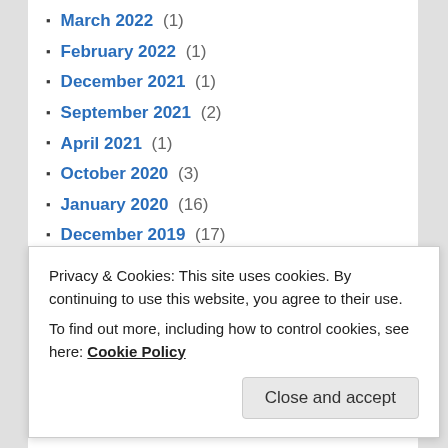March 2022 (1)
February 2022 (1)
December 2021 (1)
September 2021 (2)
April 2021 (1)
October 2020 (3)
January 2020 (16)
December 2019 (17)
November 2019 (1)
October 2019 (17)
September 2019 (2)
August 2019 (9)
July 2019 (65)
June 2019 (103)
Privacy & Cookies: This site uses cookies. By continuing to use this website, you agree to their use. To find out more, including how to control cookies, see here: Cookie Policy